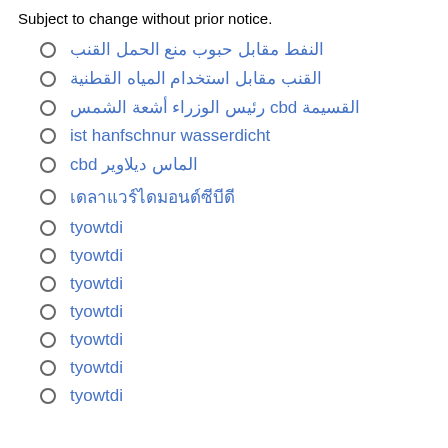Subject to change without prior notice.
النفط مقابل حبوب منع الحمل القنب
القنب مقابل استخدام المياه القطنية
القسيمة cbd رئيس الوزراء أشعة الشمس
ist hanfschnur wasserdicht
الماس ديلاوير cbd
เดลาแวร์ไดมอนด์ซีบีดี
tyowtdi
tyowtdi
tyowtdi
tyowtdi
tyowtdi
tyowtdi
tyowtdi